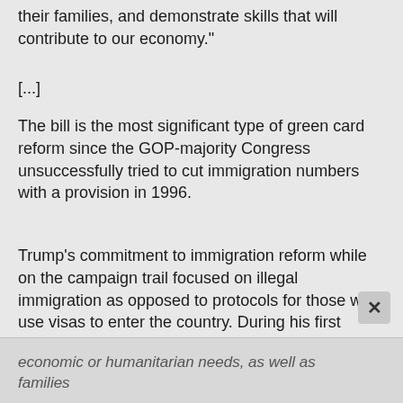their families, and demonstrate skills that will contribute to our economy."
[...]
The bill is the most significant type of green card reform since the GOP-majority Congress unsuccessfully tried to cut immigration numbers with a provision in 1996.
Trump's commitment to immigration reform while on the campaign trail focused on illegal immigration as opposed to protocols for those who use visas to enter the country. During his first address to a joint session of Congress on Feb. 28, Trump decried the "current, outdated
economic or humanitarian needs, as well as families